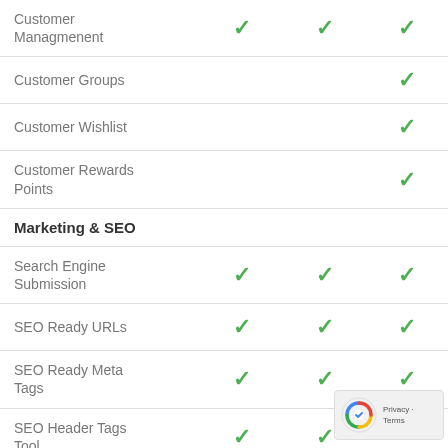| Feature | Plan 1 | Plan 2 | Plan 3 |
| --- | --- | --- | --- |
| Customer Managmenent | ✓ | ✓ | ✓ |
| Customer Groups |  |  | ✓ |
| Customer Wishlist |  |  | ✓ |
| Customer Rewards Points |  |  | ✓ |
| Marketing & SEO |  |  |  |
| Search Engine Submission | ✓ | ✓ | ✓ |
| SEO Ready URLs | ✓ | ✓ | ✓ |
| SEO Ready Meta Tags | ✓ | ✓ | ✓ |
| SEO Header Tags Tool | ✓ | ✓ |  |